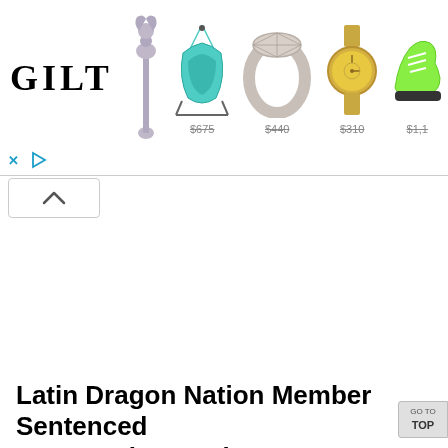[Figure (screenshot): GILT advertisement banner showing logo and product images (lounge chair, diamond ring, gold watch, green sneakers) with strikethrough prices $675, $440, $310, $1,1xx]
[Figure (screenshot): Collapse/hide ad button with up arrow caret]
Latin Dragon Nation Member Sentenced to 480 Months Imprisonment